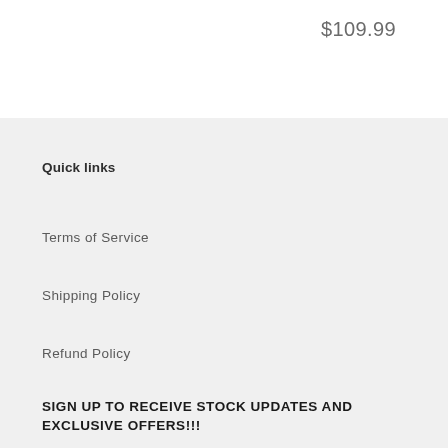$109.99
Quick links
Terms of Service
Shipping Policy
Refund Policy
SIGN UP TO RECEIVE STOCK UPDATES AND EXCLUSIVE OFFERS!!!